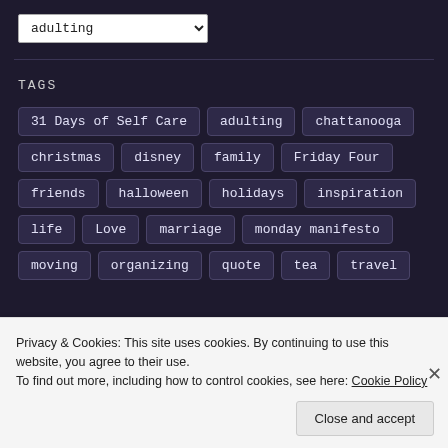adulting (dropdown)
TAGS
31 Days of Self Care
adulting
chattanooga
christmas
disney
family
Friday Four
friends
halloween
holidays
inspiration
life
Love
marriage
monday manifesto
moving
organizing
quote
tea
travel
Privacy & Cookies: This site uses cookies. By continuing to use this website, you agree to their use.
To find out more, including how to control cookies, see here: Cookie Policy
Close and accept